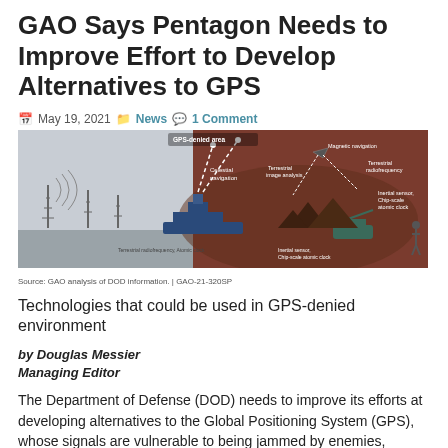GAO Says Pentagon Needs to Improve Effort to Develop Alternatives to GPS
May 19, 2021  News  1 Comment
[Figure (infographic): Infographic showing technologies that could be used in GPS-denied areas including celestial navigation, terrestrial radiofrequency, atomic clock, magnetic navigation, terrestrial image analysis, inertial sensor, chip-scale atomic clock. Source: GAO analysis of DOD information. GAO-21-320SP]
Source: GAO analysis of DOD information.  |  GAO-21-320SP
Technologies that could be used in GPS-denied environment
by Douglas Messier
Managing Editor
The Department of Defense (DOD) needs to improve its efforts at developing alternatives to the Global Positioning System (GPS), whose signals are vulnerable to being jammed by enemies, according to a new report